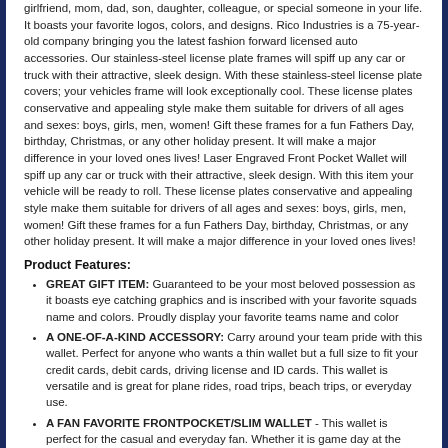girlfriend, mom, dad, son, daughter, colleague, or special someone in your life. It boasts your favorite logos, colors, and designs. Rico Industries is a 75-year-old company bringing you the latest fashion forward licensed auto accessories. Our stainless-steel license plate frames will spiff up any car or truck with their attractive, sleek design. With these stainless-steel license plate covers; your vehicles frame will look exceptionally cool. These license plates conservative and appealing style make them suitable for drivers of all ages and sexes: boys, girls, men, women! Gift these frames for a fun Fathers Day, birthday, Christmas, or any other holiday present. It will make a major difference in your loved ones lives! Laser Engraved Front Pocket Wallet will spiff up any car or truck with their attractive, sleek design. With this item your vehicle will be ready to roll. These license plates conservative and appealing style make them suitable for drivers of all ages and sexes: boys, girls, men, women! Gift these frames for a fun Fathers Day, birthday, Christmas, or any other holiday present. It will make a major difference in your loved ones lives!
Product Features:
GREAT GIFT ITEM: Guaranteed to be your most beloved possession as it boasts eye catching graphics and is inscribed with your favorite squads name and colors. Proudly display your favorite teams name and color
A ONE-OF-A-KIND ACCESSORY: Carry around your team pride with this wallet. Perfect for anyone who wants a thin wallet but a full size to fit your credit cards, debit cards, driving license and ID cards. This wallet is versatile and is great for plane rides, road trips, beach trips, or everyday use.
A FAN FAVORITE FRONTPOCKET/SLIM WALLET - This wallet is perfect for the casual and everyday fan. Whether it is game day at the stadium or a home game with friends this wallet will be the highlight of the party